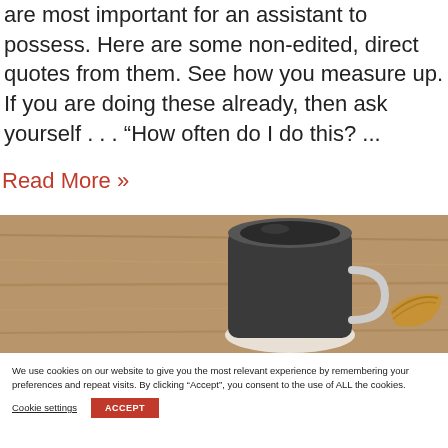are most important for an assistant to possess. Here are some non-edited, direct quotes from them. See how you measure up. If you are doing these already, then ask yourself . . . “How often do I do this? ...
Read More »
[Figure (photo): Top-down view of a dark coffee cup on a wooden table surface, with a croissant visible at the right edge.]
We use cookies on our website to give you the most relevant experience by remembering your preferences and repeat visits. By clicking “Accept”, you consent to the use of ALL the cookies.
Cookie settings
ACCEPT